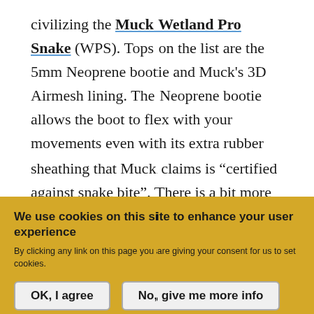civilizing the Muck Wetland Pro Snake (WPS). Tops on the list are the 5mm Neoprene bootie and Muck's 3D Airmesh lining. The Neoprene bootie allows the boot to flex with your movements even with its extra rubber sheathing that Muck claims is “certified against snake bite”. There is a bit more rigidity because of this extra rubber, but the boot is far from stiff. The 3D Airmesh lining does an admirable job, but the WPS is warm. Muck says the temperature range for the WPS is sub-freezing to 65F. It’s winter
We use cookies on this site to enhance your user experience
By clicking any link on this page you are giving your consent for us to set cookies.
OK, I agree
No, give me more info